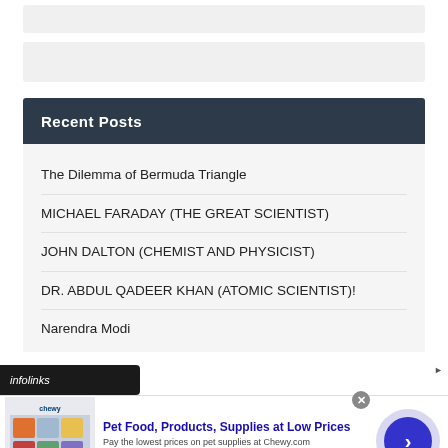Recent Posts
The Dilemma of Bermuda Triangle
MICHAEL FARADAY (THE GREAT SCIENTIST)
JOHN DALTON (CHEMIST AND PHYSICIST)
DR. ABDUL QADEER KHAN (ATOMIC SCIENTIST)!
Narendra Modi
[Figure (screenshot): infolinks advertisement banner for Chewy.com: Pet Food, Products, Supplies at Low Prices]